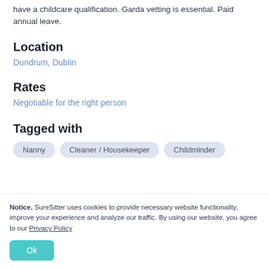have a childcare qualification. Garda vetting is essential. Paid annual leave.
Location
Dundrum, Dublin
Rates
Negotiable for the right person
Tagged with
Nanny   Cleaner / Housekeeper   Childminder
Notice. SureSitter uses cookies to provide necessary website functionality, improve your experience and analyze our traffic. By using our website, you agree to our Privacy Policy